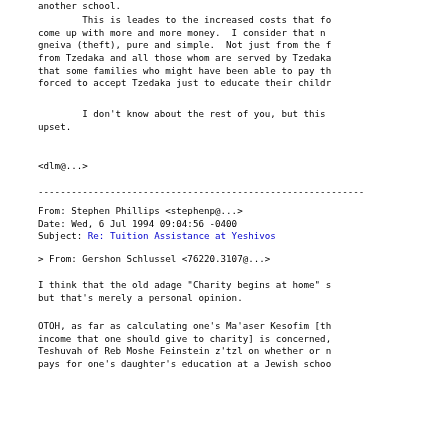another school.
This is leades to the increased costs that fo come up with more and more money.  I consider that n gneiva (theft), pure and simple.  Not just from the f from Tzedaka and all those whom are served by Tzedaka that some families who might have been able to pay th forced to accept Tzedaka just to educate their childr
I don't know about the rest of you, but this upset.
<dlm@...>
-----------------------------------------------------------
From: Stephen Phillips <stephenp@...>
Date: Wed, 6 Jul 1994 09:04:56 -0400
Subject: Re: Tuition Assistance at Yeshivos
> From: Gershon Schlussel <76220.3107@...>
I think that the old adage "Charity begins at home" s but that's merely a personal opinion.
OTOH, as far as calculating one's Ma'aser Kesofim [th income that one should give to charity] is concerned, Teshuvah of Reb Moshe Feinstein z'tzl on whether or n pays for one's daughter's education at a Jewish schoo